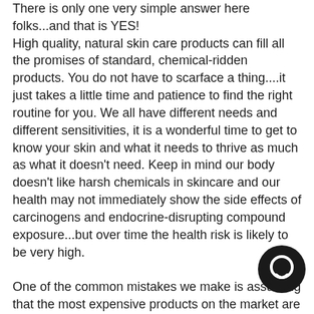There is only one very simple answer here folks...and that is YES! High quality, natural skin care products can fill all the promises of standard, chemical-ridden products. You do not have to scarface a thing....it just takes a little time and patience to find the right routine for you. We all have different needs and different sensitivities, it is a wonderful time to get to know your skin and what it needs to thrive as much as what it doesn't need. Keep in mind our body doesn't like harsh chemicals in skincare and our health may not immediately show the side effects of carcinogens and endocrine-disrupting compound exposure...but over time the health risk is likely to be very high.
One of the common mistakes we make is assuming that the most expensive products on the market are the best for us. This is not the case. Many high-end brands are very low quality and use toxic-ingredients that at the end of production should cost more along the lines of a bargain department store brand.
Limiting our toxic-load is vital for our overall health. Our skin
[Figure (other): Dark circular chat icon / widget button in the bottom right corner of the page]